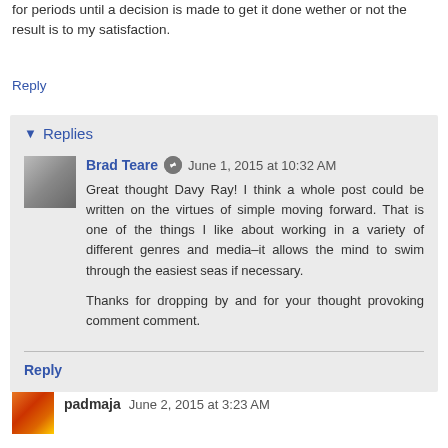for periods until a decision is made to get it done wether or not the result is to my satisfaction.
Reply
Replies
Brad Teare  June 1, 2015 at 10:32 AM
Great thought Davy Ray! I think a whole post could be written on the virtues of simple moving forward. That is one of the things I like about working in a variety of different genres and media–it allows the mind to swim through the easiest seas if necessary.

Thanks for dropping by and for your thought provoking comment comment.
Reply
padmaja  June 2, 2015 at 3:23 AM